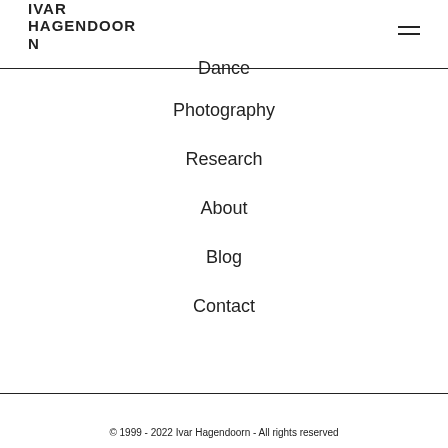IVAR HAGENDOORN
Dance
Photography
Research
About
Blog
Contact
© 1999 - 2022 Ivar Hagendoorn - All rights reserved